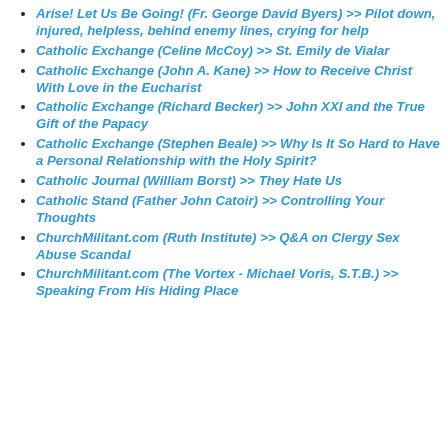Arise! Let Us Be Going! (Fr. George David Byers) >> Pilot down, injured, helpless, behind enemy lines, crying for help
Catholic Exchange (Celine McCoy) >> St. Emily de Vialar
Catholic Exchange (John A. Kane) >> How to Receive Christ With Love in the Eucharist
Catholic Exchange (Richard Becker) >> John XXI and the True Gift of the Papacy
Catholic Exchange (Stephen Beale) >> Why Is It So Hard to Have a Personal Relationship with the Holy Spirit?
Catholic Journal (William Borst) >> They Hate Us
Catholic Stand (Father John Catoir) >> Controlling Your Thoughts
ChurchMilitant.com (Ruth Institute) >> Q&A on Clergy Sex Abuse Scandal
ChurchMilitant.com (The Vortex - Michael Voris, S.T.B.) >> Speaking From His Hiding Place